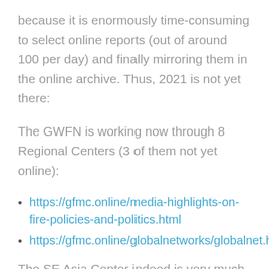because it is enormously time-consuming to select online reports (out of around 100 per day) and finally mirroring them in the online archive. Thus, 2021 is not yet there:
The GWFN is working now through 8 Regional Centers (3 of them not yet online):
https://gfmc.online/media-highlights-on-fire-policies-and-politics.html
https://gfmc.online/globalnetworks/globalnet.html
The SE Asia Center indeed is very much focusing on the equatorial region and